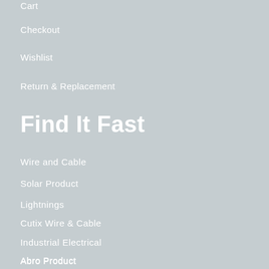Cart
Checkout
Wishlist
Return & Replacement
Find It Fast
Wire and Cable
Solar Product
Lightnings
Cutix Wire & Cable
Industrial Electrical
Abro Product
Stanley Fuse
Close Guard Devices